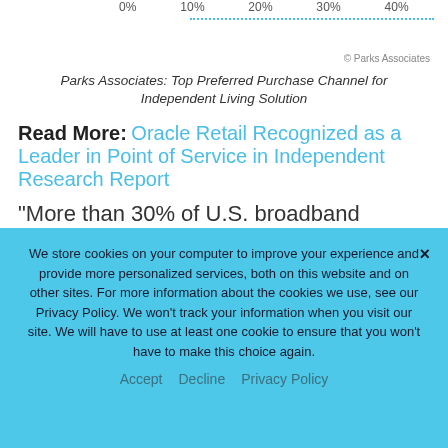[Figure (other): Partial bar chart showing purchase channel percentages, with x-axis labels 0%, 10%, 20%, 30%, 40% and a dotted line indicator near the top]
Parks Associates: Top Preferred Purchase Channel for Independent Living Solution
Read More: Oracle Retail Recognized as a Leader in Point of Service in Independent Research Report
“More than 30% of U.S. broadband households are either current or future
We store cookies on your computer to improve your experience and provide more personalized services, both on this website and on other sites. For more information about the cookies we use, see our Privacy Policy. We won’t track your information when you visit our site. We will have to use at least one cookie to ensure that you won’t have to make this choice again.
Accept   Decline   Privacy Policy